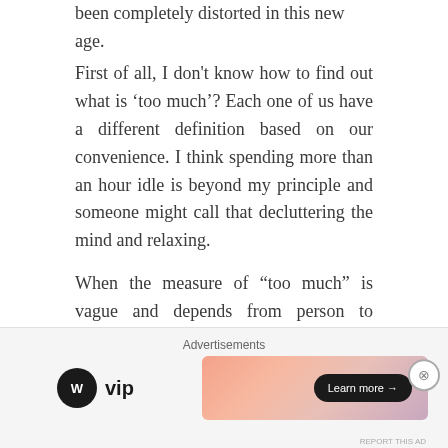been completely distorted in this new age.
First of all, I don't know how to find out what is 'too much'? Each one of us have a different definition based on our convenience. I think spending more than an hour idle is beyond my principle and someone might call that decluttering the mind and relaxing.
When the measure of “too much” is vague and depends from person to person, how can that moderation be common. Being in digital era, let us call this as a “Highly personalised” factor.
[Figure (infographic): Advertisement bar with Advertisements label, WordPress VIP logo on the left, and a gradient pink/orange ad banner with a Learn more arrow button on the right. Close button (X in circle) in top-right. Report this ad text at bottom right.]